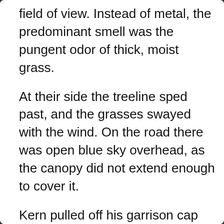field of view. Instead of metal, the predominant smell was the pungent odor of thick, moist grass.
At their side the treeline sped past, and the grasses swayed with the wind. On the road there was open blue sky overhead, as the canopy did not extend enough to cover it.
Kern pulled off his garrison cap and stuffed it in his jacket as it threatened to fly away. His blond hair was still short but had grown enough to whip a little in the wind. He didn't mind it. Soon they left the